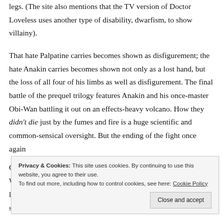legs. (The site also mentions that the TV version of Doctor Loveless uses another type of disability, dwarfism, to show villainy).
That hate Palpatine carries becomes shown as disfigurement; the hate Anakin carries becomes shown not only as a lost hand, but the loss of all four of his limbs as well as disfigurement. The final battle of the prequel trilogy features Anakin and his once-master Obi-Wan battling it out on an effects-heavy volcano. How they didn't die just by the fumes and fire is a huge scientific and common-sensical oversight. But the ending of the fight once again
C
W
l,
s
Privacy & Cookies: This site uses cookies. By continuing to use this website, you agree to their use. To find out more, including how to control cookies, see here: Cookie Policy